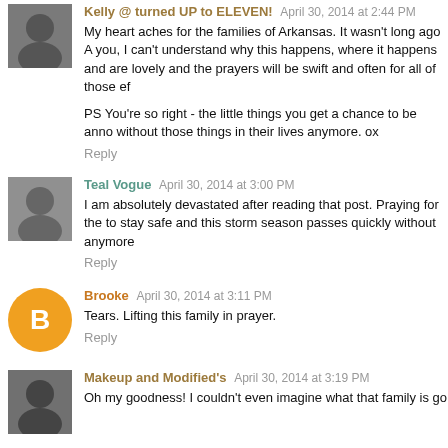Kelly @ turned UP to ELEVEN!  April 30, 2014 at 2:44 PM
My heart aches for the families of Arkansas. It wasn't long ago A you, I can't understand why this happens, where it happens and are lovely and the prayers will be swift and often for all of those ef
PS You're so right - the little things you get a chance to be anno without those things in their lives anymore. ox
Reply
Teal Vogue  April 30, 2014 at 3:00 PM
I am absolutely devastated after reading that post. Praying for the to stay safe and this storm season passes quickly without anymore
Reply
Brooke  April 30, 2014 at 3:11 PM
Tears. Lifting this family in prayer.
Reply
Makeup and Modified's  April 30, 2014 at 3:19 PM
Oh my goodness! I couldn't even imagine what that family is go